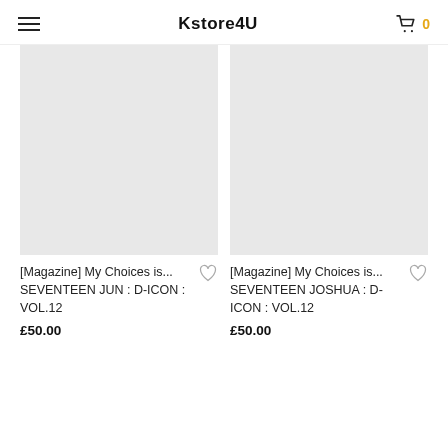Kstore4U
[Magazine] My Choices is... SEVENTEEN JUN : D-ICON : VOL.12
£50.00
[Magazine] My Choices is... SEVENTEEN JOSHUA : D-ICON : VOL.12
£50.00